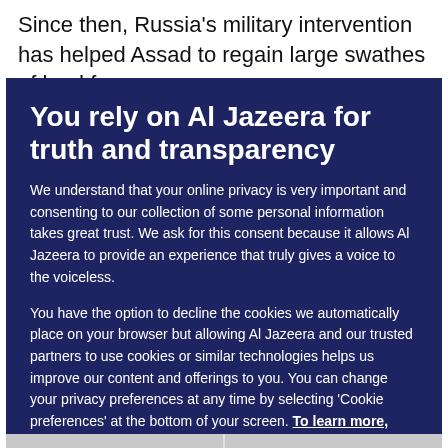Since then, Russia's military intervention has helped Assad to regain large swathes of land from
You rely on Al Jazeera for truth and transparency
We understand that your online privacy is very important and consenting to our collection of some personal information takes great trust. We ask for this consent because it allows Al Jazeera to provide an experience that truly gives a voice to the voiceless.
You have the option to decline the cookies we automatically place on your browser but allowing Al Jazeera and our trusted partners to use cookies or similar technologies helps us improve our content and offerings to you. You can change your privacy preferences at any time by selecting 'Cookie preferences' at the bottom of your screen. To learn more, please view our Cookie Policy.